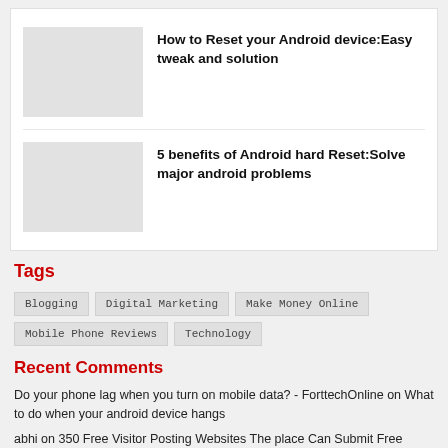How to Reset your Android device:Easy tweak and solution
5 benefits of Android hard Reset:Solve major android problems
Tags
Blogging
Digital Marketing
Make Money Online
Mobile Phone Reviews
Technology
Recent Comments
Do your phone lag when you turn on mobile data? - ForttechOnline on What to do when your android device hangs
abhi on 350 Free Visitor Posting Websites The place Can Submit Free Visitor Posts in 2021 [Verified List]